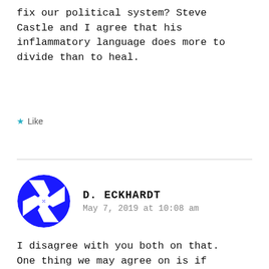fix our political system? Steve Castle and I agree that his inflammatory language does more to divide than to heal.
Like
[Figure (illustration): Blue circular avatar icon with geometric interlocking pattern for user D. Eckhardt]
D. ECKHARDT
May 7, 2019 at 10:08 am
I disagree with you both on that. One thing we may agree on is if you call someone a no good lying SOB straight up or contify it in